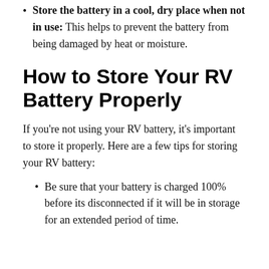Store the battery in a cool, dry place when not in use: This helps to prevent the battery from being damaged by heat or moisture.
How to Store Your RV Battery Properly
If you're not using your RV battery, it's important to store it properly. Here are a few tips for storing your RV battery:
Be sure that your battery is charged 100% before its disconnected if it will be in storage for an extended period of time.